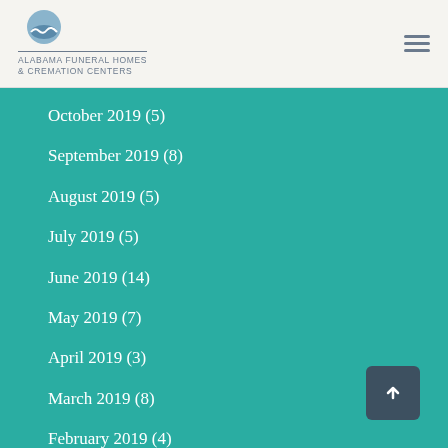[Figure (logo): Alabama Funeral Homes & Cremation Centers logo with wave icon]
October 2019 (5)
September 2019 (8)
August 2019 (5)
July 2019 (5)
June 2019 (14)
May 2019 (7)
April 2019 (3)
March 2019 (8)
February 2019 (4)
January 2019 (5)
December 2018 (5)